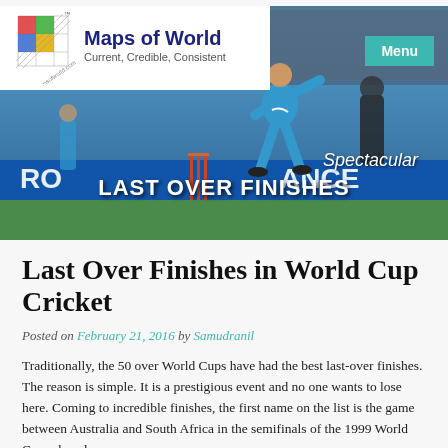[Figure (photo): Maps of World website header with colorful grid logo, brand name 'Maps of World' in dark blue, tagline 'Current, Credible, Consistent', teal Menu button, and a cricket action photo background showing a bowler in blue kit with text overlays 'Spectacular' and 'LAST OVER FINISHES']
Last Over Finishes in World Cup Cricket
Posted on February 21, 2016 by Samudranil
Traditionally, the 50 over World Cups have had the best last-over finishes. The reason is simple. It is a prestigious event and no one wants to lose here. Coming to incredible finishes, the first name on the list is the game between Australia and South Africa in the semifinals of the 1999 World Cup, played on...